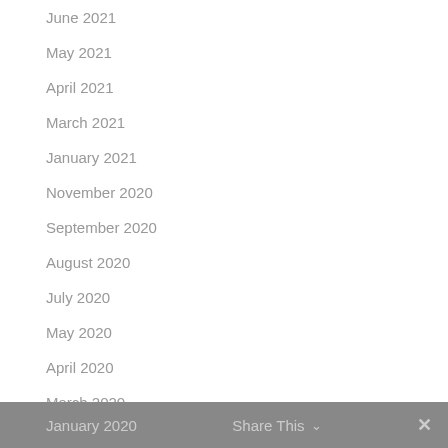June 2021
May 2021
April 2021
March 2021
January 2021
November 2020
September 2020
August 2020
July 2020
May 2020
April 2020
March 2020
February 2020
January 2020
January 2020   Share This   ✕